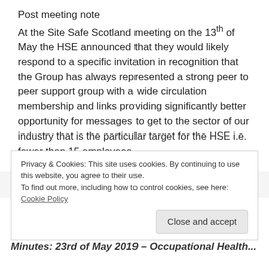Post meeting note
At the Site Safe Scotland meeting on the 13th of May the HSE announced that they would likely respond to a specific invitation in recognition that the Group has always represented a strong peer to peer support group with a wide circulation membership and links providing significantly better opportunity for messages to get to the sector of our industry that is the particular target for the HSE i.e. fewer than 15 employees
05/06/2019   John Feeley
Privacy & Cookies: This site uses cookies. By continuing to use this website, you agree to their use.
To find out more, including how to control cookies, see here: Cookie Policy
Minutes: 23rd of May 2019 – Occupational Health...